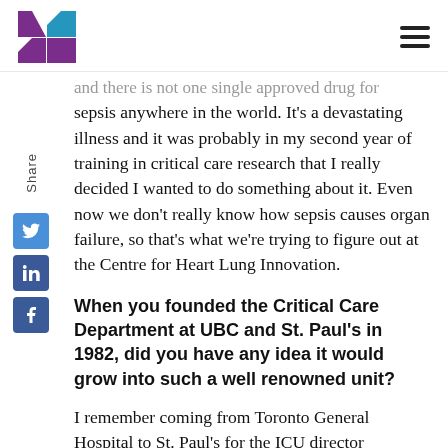[Logo] [Hamburger menu]
and there is not one single approved drug for sepsis anywhere in the world. It’s a devastating illness and it was probably in my second year of training in critical care research that I really decided I wanted to do something about it. Even now we don’t really know how sepsis causes organ failure, so that’s what we’re trying to figure out at the Centre for Heart Lung Innovation.
When you founded the Critical Care Department at UBC and St. Paul’s in 1982, did you have any idea it would grow into such a well renowned unit?
I remember coming from Toronto General Hospital to St. Paul’s for the ICU director